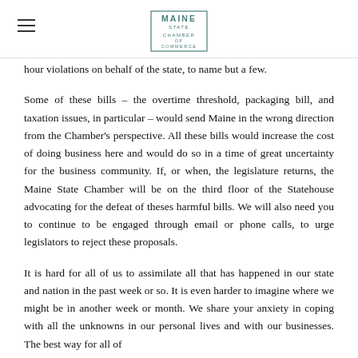Maine State Chamber of Commerce
hour violations on behalf of the state, to name but a few.
Some of these bills – the overtime threshold, packaging bill, and taxation issues, in particular – would send Maine in the wrong direction from the Chamber's perspective. All these bills would increase the cost of doing business here and would do so in a time of great uncertainty for the business community. If, or when, the legislature returns, the Maine State Chamber will be on the third floor of the Statehouse advocating for the defeat of theses harmful bills. We will also need you to continue to be engaged through email or phone calls, to urge legislators to reject these proposals.
It is hard for all of us to assimilate all that has happened in our state and nation in the past week or so. It is even harder to imagine where we might be in another week or month. We share your anxiety in coping with all the unknowns in our personal lives and with our businesses. The best way for all of